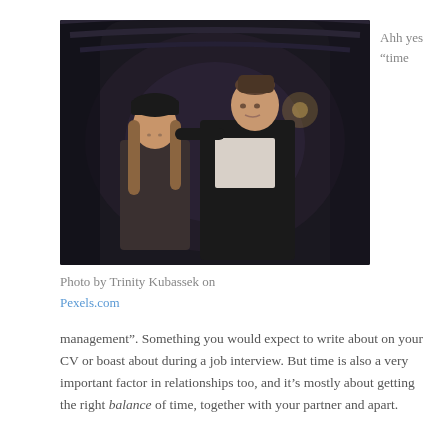[Figure (photo): A young woman with long hair and a dark beanie and a young man in a dark jacket standing together in a dark tunnel/underpass. The woman looks down while the man looks toward her.]
Ahh yes “time
Photo by Trinity Kubassek on Pexels.com
management”. Something you would expect to write about on your CV or boast about during a job interview. But time is also a very important factor in relationships too, and it’s mostly about getting the right balance of time, together with your partner and apart.